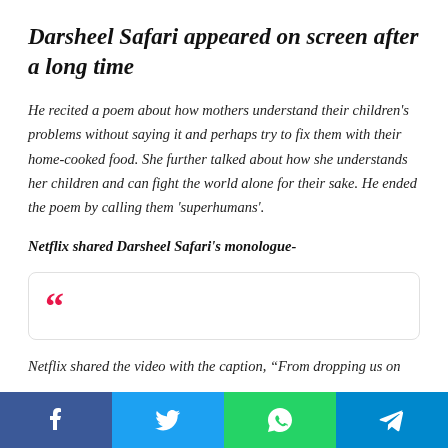Darsheel Safari appeared on screen after a long time
He recited a poem about how mothers understand their children's problems without saying it and perhaps try to fix them with their home-cooked food. She further talked about how she understands her children and can fight the world alone for their sake. He ended the poem by calling them 'superhumans'.
Netflix shared Darsheel Safari's monologue-
[Figure (other): Quote box with large pink/red double quotation marks on white background with rounded border]
Netflix shared the video with the caption, “From dropping us on
Facebook | Twitter | WhatsApp | Telegram